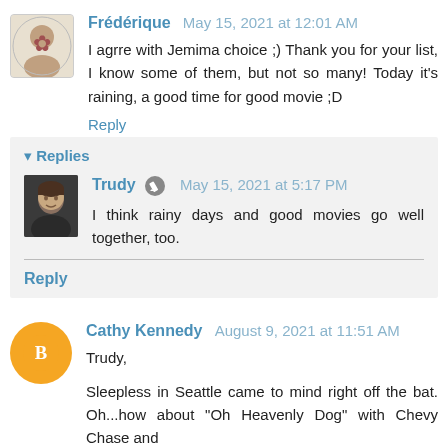Frédérique May 15, 2021 at 12:01 AM
I agrre with Jemima choice ;) Thank you for your list, I know some of them, but not so many! Today it's raining, a good time for good movie ;D
Reply
Replies
Trudy May 15, 2021 at 5:17 PM
I think rainy days and good movies go well together, too.
Reply
Cathy Kennedy August 9, 2021 at 11:51 AM
Trudy,
Sleepless in Seattle came to mind right off the bat. Oh...how about "Oh Heavenly Dog" with Chevy Chase and